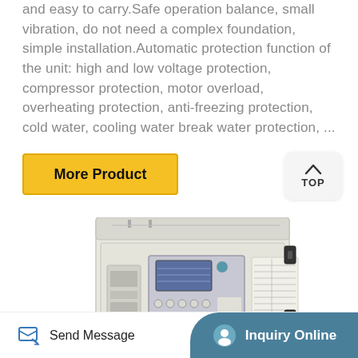and easy to carry.Safe operation balance, small vibration, do not need a complex foundation, simple installation.Automatic protection function of the unit: high and low voltage protection, compressor protection, motor overload, overheating protection, anti-freezing protection, cold water, cooling water break water protection, ...
More Product
TOP
[Figure (photo): Industrial chiller unit machine with control panel displaying blue LCD screen and various buttons, white/cream colored cabinet with black hardware latches]
Send Message
Inquiry Online